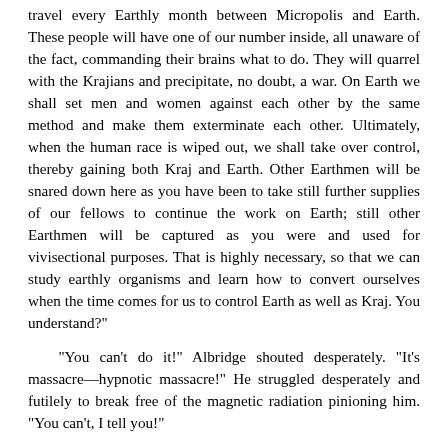travel every Earthly month between Micropolis and Earth. These people will have one of our number inside, all unaware of the fact, commanding their brains what to do. They will quarrel with the Krajians and precipitate, no doubt, a war. On Earth we shall set men and women against each other by the same method and make them exterminate each other. Ultimately, when the human race is wiped out, we shall take over control, thereby gaining both Kraj and Earth. Other Earthmen will be snared down here as you have been to take still further supplies of our fellows to continue the work on Earth; still other Earthmen will be captured as you were and used for vivisectional purposes. That is highly necessary, so that we can study earthly organisms and learn how to convert ourselves when the time comes for us to control Earth as well as Kraj. You understand?"
"You can't do it!" Albridge shouted desperately. "It's massacre—hypnotic massacre!" He struggled desperately and futilely to break free of the magnetic radiation pinioning him. "You can't, I tell you!"
"The operation will proceed," Kanos announced implacably, and made a motion to his assembled men.